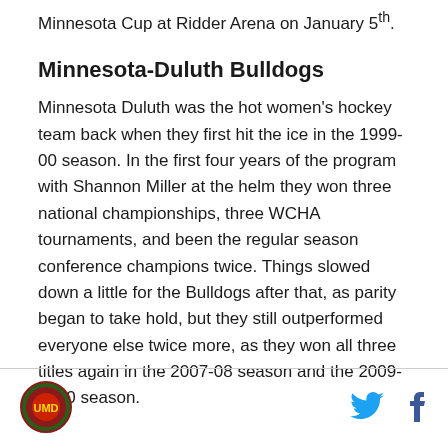Minnesota Cup at Ridder Arena on January 5th.
Minnesota-Duluth Bulldogs
Minnesota Duluth was the hot women's hockey team back when they first hit the ice in the 1999-00 season. In the first four years of the program with Shannon Miller at the helm they won three national championships, three WCHA tournaments, and been the regular season conference champions twice. Things slowed down a little for the Bulldogs after that, as parity began to take hold, but they still outperformed everyone else twice more, as they won all three titles again in the 2007-08 season and the 2009-2010 season.
[Figure (logo): Circular sports team logo with red and green colors]
[Figure (logo): Twitter bird icon in blue]
[Figure (logo): Facebook f icon in dark blue]